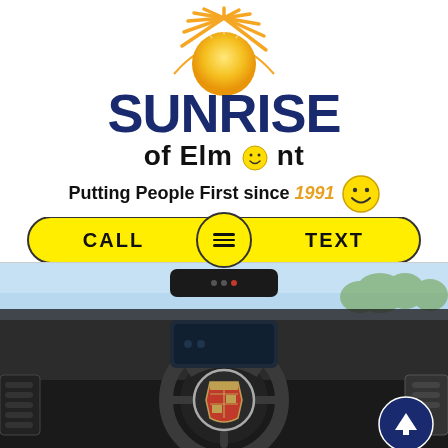[Figure (logo): Sunrise of Elmont dealership logo with sun graphic, dark blue SUNRISE text, 'of Elmont' with smiley face replacing the 'o', tagline 'Putting People First since 1991' with smiley emoji]
CALL | ≡ | TEXT (navigation bar buttons)
[Figure (photo): Car interior top portion showing rearview mirror against blue sky background]
[Figure (photo): Car interior showing Cadillac steering wheel with Cadillac emblem/logo, and a back-to-top button in bottom right corner]